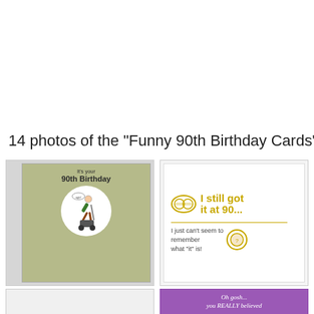14 photos of the "Funny 90th Birthday Cards"
[Figure (photo): Funny 90th birthday card showing a man bent over a lawn mower with text 'It's your 90th Birthday' on a green/olive background]
[Figure (photo): Funny 90th birthday card reading 'I still got it at 90... I just can't seem to remember what "it" is!' with gold text and sunglasses icon on white background]
[Figure (photo): Partially visible birthday card, light colored]
[Figure (photo): Partially visible purple birthday card with italic text starting 'Oh gosh... you REALLY believed']